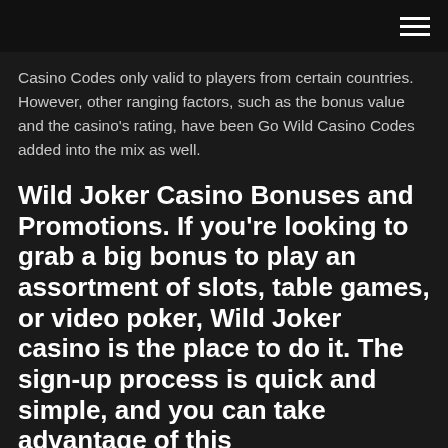Casino Codes only valid to players from certain countries. However, other ranging factors, such as the bonus value and the casino's rating, have been Go Wild Casino Codes added into the mix as well.
Wild Joker Casino Bonuses and Promotions. If you're looking to grab a big bonus to play an assortment of slots, table games, or video poker, Wild Joker casino is the place to do it. The sign-up process is quick and simple, and you can take advantage of this